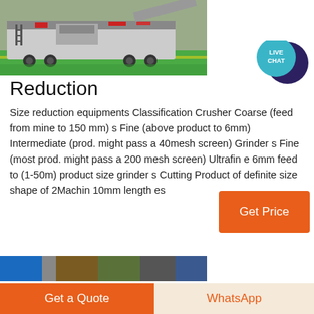[Figure (photo): Industrial mobile crusher/screening machine on a green factory floor]
[Figure (illustration): Live Chat speech bubble icon in teal/dark blue]
Reduction
Size reduction equipments Classification Crusher Coarse (feed from mine to 150 mm) s Fine (above product to 6mm) Intermediate (prod. might pass a 40mesh screen) Grinder s Fine (most prod. might pass a 200 mesh screen) Ultrafin e 6mm feed to (1-50m) product size grinder s Cutting Product of definite size shape of 2Machin 10mm length es
[Figure (other): Orange Get Price button]
[Figure (photo): Bottom image strip showing industrial equipment thumbnails]
Get a Quote
WhatsApp